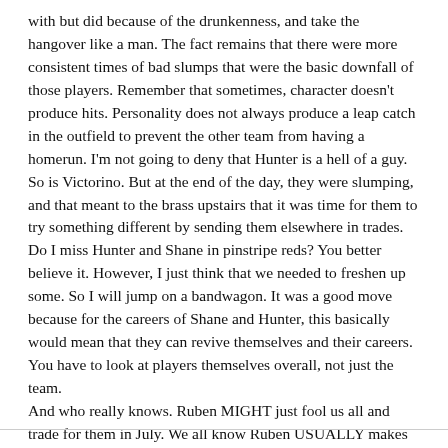with but did because of the drunkenness, and take the hangover like a man. The fact remains that there were more consistent times of bad slumps that were the basic downfall of those players. Remember that sometimes, character doesn't produce hits. Personality does not always produce a leap catch in the outfield to prevent the other team from having a homerun. I'm not going to deny that Hunter is a hell of a guy. So is Victorino. But at the end of the day, they were slumping, and that meant to the brass upstairs that it was time for them to try something different by sending them elsewhere in trades. Do I miss Hunter and Shane in pinstripe reds? You better believe it. However, I just think that we needed to freshen up some. So I will jump on a bandwagon. It was a good move because for the careers of Shane and Hunter, this basically would mean that they can revive themselves and their careers. You have to look at players themselves overall, not just the team.
And who really knows. Ruben MIGHT just fool us all and trade for them in July. We all know Ruben USUALLY makes blockbuster moves on July 29th.